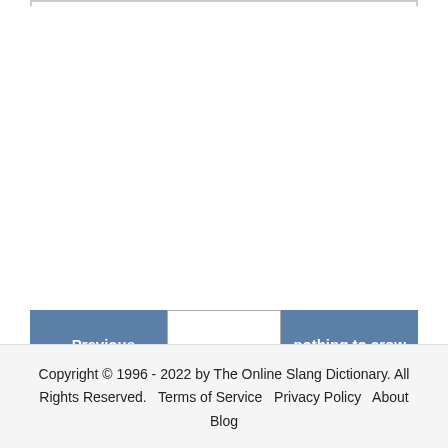← Previous - nothin
nothingburger
nothing to crow about - Next →
Copyright © 1996 - 2022 by The Online Slang Dictionary. All Rights Reserved.  Terms of Service  Privacy Policy  About  Blog